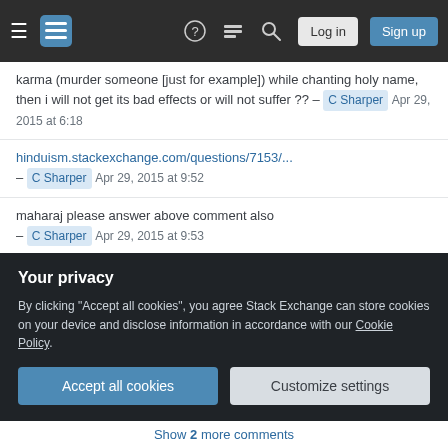Stack Exchange navigation bar with hamburger menu, logo, help, chat, search, Log in, Sign up
karma (murder someone [just for example]) while chanting holy name, then i will not get its bad effects or will not suffer ?? – C Sharper Apr 29, 2015 at 6:18
hinduism.stackexchange.com/questions/7153/... – C Sharper Apr 29, 2015 at 9:52
maharaj please answer above comment also – C Sharper Apr 29, 2015 at 9:53
The Lord is no fool. If you are committing a murder with a tamasic attitude and have no remorse in your heart and are simply doing Japa to try and lessen the karma, then no, it will not. If you are, on the other hand, doing
Your privacy
By clicking "Accept all cookies", you agree Stack Exchange can store cookies on your device and disclose information in accordance with our Cookie Policy.
Accept all cookies
Customize settings
Show 2 more comments